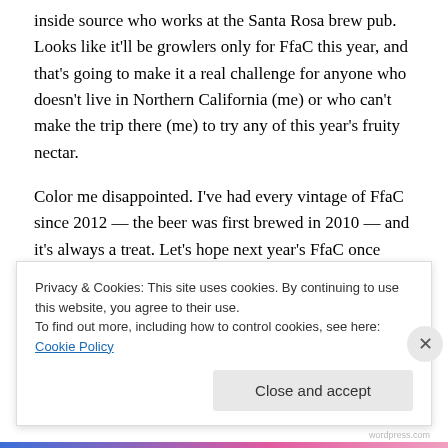inside source who works at the Santa Rosa brew pub. Looks like it'll be growlers only for FfaC this year, and that's going to make it a real challenge for anyone who doesn't live in Northern California (me) or who can't make the trip there (me) to try any of this year's fruity nectar.
Color me disappointed. I've had every vintage of FfaC since 2012 — the beer was first brewed in 2010 — and it's always a treat. Let's hope next year's FfaC once again makes it into bottles.
UPN
Privacy & Cookies: This site uses cookies. By continuing to use this website, you agree to their use.
To find out more, including how to control cookies, see here: Cookie Policy